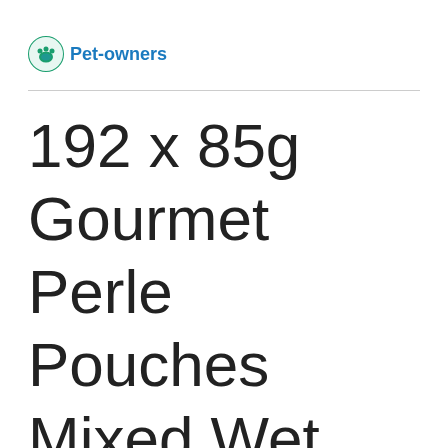Pet-owners
192 x 85g Gourmet Perle Pouches Mixed Wet Cat Food - 20% Off!* - Country Medley (192 x 85g)